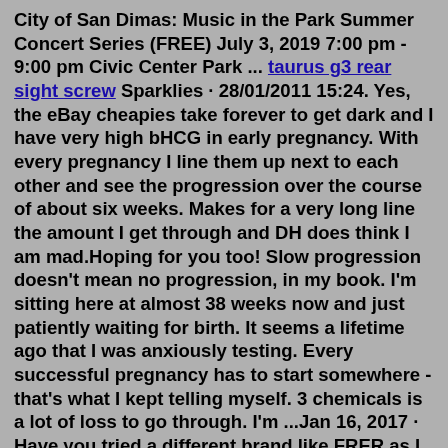City of San Dimas: Music in the Park Summer Concert Series (FREE) July 3, 2019 7:00 pm - 9:00 pm Civic Center Park ... taurus g3 rear sight screw Sparklies · 28/01/2011 15:24. Yes, the eBay cheapies take forever to get dark and I have very high bHCG in early pregnancy. With every pregnancy I line them up next to each other and see the progression over the course of about six weeks. Makes for a very long line the amount I get through and DH does think I am mad.Hoping for you too! Slow progression doesn't mean no progression, in my book. I'm sitting here at almost 38 weeks now and just patiently waiting for birth. It seems a lifetime ago that I was anxiously testing. Every successful pregnancy has to start somewhere - that's what I kept telling myself. 3 chemicals is a lot of loss to go through. I'm ...Jan 16, 2017 · Have you tried a different brand like FRER as I found with my DD the Internet cheapies were super faint until I was a couple of weeks past missed AF. I swapped to checking line progression with FRER and